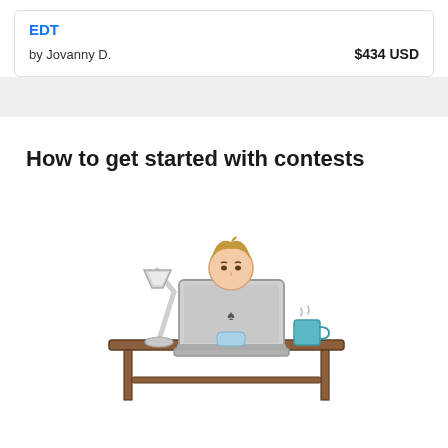EDT
by Jovanny D.
$434 USD
How to get started with contests
[Figure (illustration): Illustration of a person sitting at a desk working on a laptop with a desk lamp and a mug]